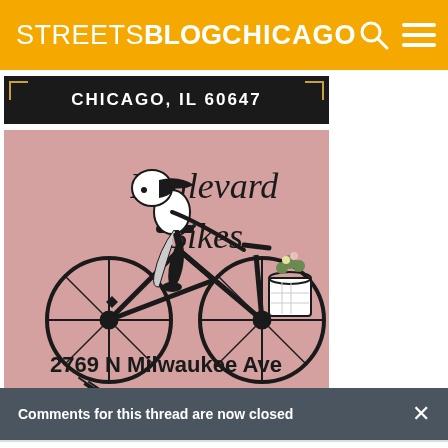STREETSBLOG CHICAGO
CHICAGO, IL 60647
[Figure (illustration): Boulevard Bikes advertisement showing a stylized illustration of a woman on a bicycle with a basket of flowers, text reads 'Boulevard Bikes' and '2769 N Milwaukee Ave', pink/mauve background]
Comments for this thread are now closed
Comments  Community  Login